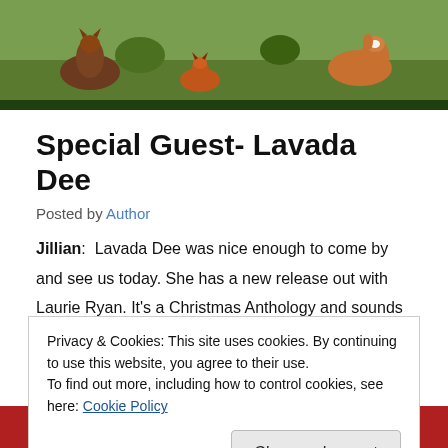[Figure (photo): Header image showing foxes and a dog in a natural outdoor setting with greenery and soil, followed by a dark green bar.]
Special Guest- Lavada Dee
Posted by Author
Jillian:  Lavada Dee was nice enough to come by and see us today. She has a new release out with Laurie Ryan. It's a Christmas Anthology and sounds like a great read. Since it is a Christmas anthology, I have asked her here to tell  us about her hero and heroine's favorite Christmas songs.  Thanks for coming by, Lavada.
Privacy & Cookies: This site uses cookies. By continuing to use this website, you agree to their use.
To find out more, including how to control cookies, see here: Cookie Policy
[Figure (photo): Partial view of a red decorative Christmas-themed image at the bottom of the page.]